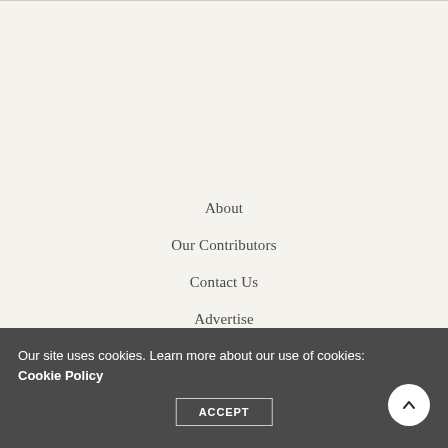About
Our Contributors
Contact Us
Advertise
Voice of the River Valley
Our site uses cookies. Learn more about our use of cookies: Cookie Policy